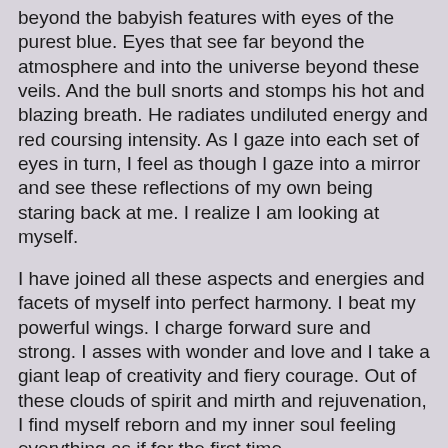beyond the babyish features with eyes of the purest blue. Eyes that see far beyond the atmosphere and into the universe beyond these veils. And the bull snorts and stomps his hot and blazing breath. He radiates undiluted energy and red coursing intensity. As I gaze into each set of eyes in turn, I feel as though I gaze into a mirror and see these reflections of my own being staring back at me. I realize I am looking at myself.
I have joined all these aspects and energies and facets of myself into perfect harmony. I beat my powerful wings. I charge forward sure and strong. I asses with wonder and love and I take a giant leap of creativity and fiery courage. Out of these clouds of spirit and mirth and rejuvenation, I find myself reborn and my inner soul feeling everything as if for the first time.
I go forward confident in the grasp of these creatures that seem to propel me onward and hold this wreath of life around me. I am infinite and my gaze is all knowing. I am surrounded and yet supported. I am lifted and yet so stable and grounded. I twirl and my scarf twirls with me. I dance in